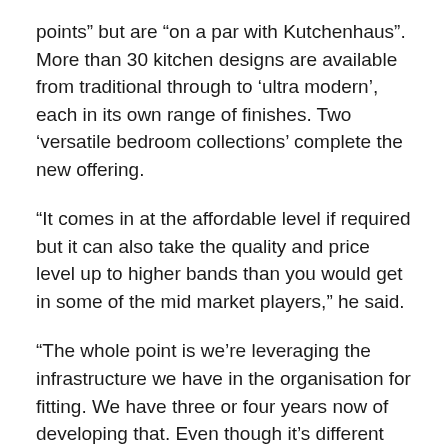points” but are “on a par with Kutchenhaus”. More than 30 kitchen designs are available from traditional through to ‘ultra modern’, each in its own range of finishes. Two ‘versatile bedroom collections’ complete the new offering.
“It comes in at the affordable level if required but it can also take the quality and price level up to higher bands than you would get in some of the mid market players,” he said.
“The whole point is we’re leveraging the infrastructure we have in the organisation for fitting. We have three or four years now of developing that. Even though it’s different products we can start to manage kitchen fits. The management of the process is very similar. It’s being able to manage the project that’s key.
“We’re offering security around a national brand. This